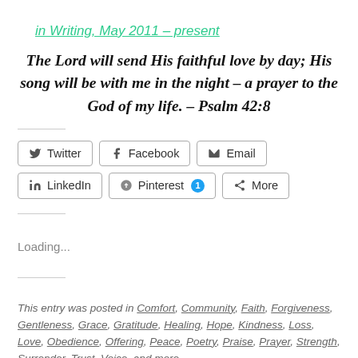in Writing, May 2011 – present
The Lord will send His faithful love by day; His song will be with me in the night – a prayer to the God of my life. – Psalm 42:8
[Figure (other): Social share buttons: Twitter, Facebook, Email, LinkedIn, Pinterest (with badge 1), More]
Loading...
This entry was posted in Comfort, Community, Faith, Forgiveness, Gentleness, Grace, Gratitude, Healing, Hope, Kindness, Loss, Love, Obedience, Offering, Peace, Poetry, Praise, Prayer, Strength, Surrender, Trust, Voice, and more